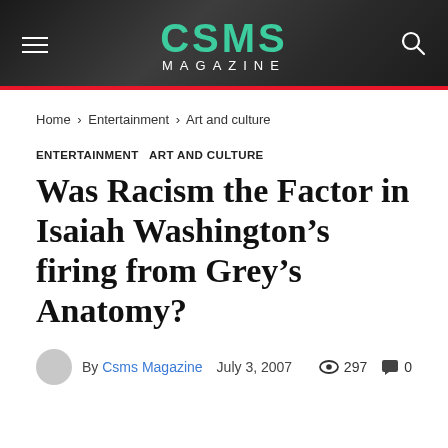CSMS MAGAZINE
Home › Entertainment › Art and culture
ENTERTAINMENT  ART AND CULTURE
Was Racism the Factor in Isaiah Washington's firing from Grey's Anatomy?
By Csms Magazine   July 3, 2007   297   0